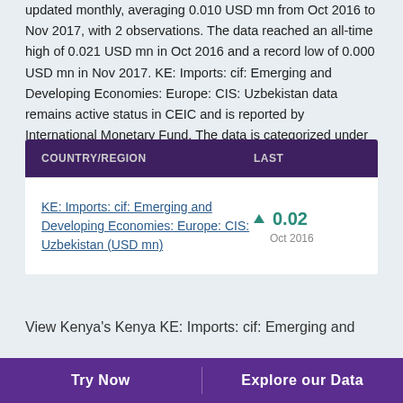updated monthly, averaging 0.010 USD mn from Oct 2016 to Nov 2017, with 2 observations. The data reached an all-time high of 0.021 USD mn in Oct 2016 and a record low of 0.000 USD mn in Nov 2017. KE: Imports: cif: Emerging and Developing Economies: Europe: CIS: Uzbekistan data remains active status in CEIC and is reported by International Monetary Fund. The data is categorized under Global Database's Kenya – Table KE.IMF.DOT: Imports: cif: by Country: Monthly.
| COUNTRY/REGION | LAST |
| --- | --- |
| KE: Imports: cif: Emerging and Developing Economies: Europe: CIS: Uzbekistan (USD mn) | ▲ 0.02
Oct 2016 |
View Kenya's Kenya KE: Imports: cif: Emerging and
Try Now    Explore our Data